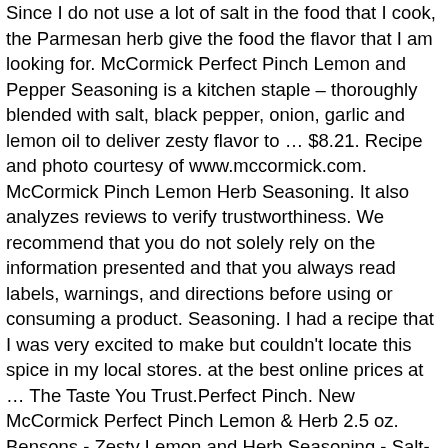Since I do not use a lot of salt in the food that I cook, the Parmesan herb give the food the flavor that I am looking for. McCormick Perfect Pinch Lemon and Pepper Seasoning is a kitchen staple – thoroughly blended with salt, black pepper, onion, garlic and lemon oil to deliver zesty flavor to … $8.21. Recipe and photo courtesy of www.mccormick.com. McCormick Pinch Lemon Herb Seasoning. It also analyzes reviews to verify trustworthiness. We recommend that you do not solely rely on the information presented and that you always read labels, warnings, and directions before using or consuming a product. Seasoning. I had a recipe that I was very excited to make but couldn't locate this spice in my local stores. at the best online prices at … The Taste You Trust.Perfect Pinch. New McCormick Perfect Pinch Lemon & Herb 2.5 oz. Bensons - Zesty Lemon and Herb Seasoning - Salt-Free, Sugar-Free, Gluten-Free, No M... Gourmet Celtic Sea Salt Organic Applewood Smoked Seasoning Salt – Versatile Smoked ... McCormick Grill Mates Barbecue Seasoning, 27 oz. Use on vegetables, seafood, sauces, and dressings. With aromas that awaken our emotions and flavors that dance on our tongue, we bring families together and make memories around the table one recipe at a time. Please make sure that you are posting in the form of a question. Perfect pinch is NOT the same as McComick's Lemon &Herb seasoning. We strive to find